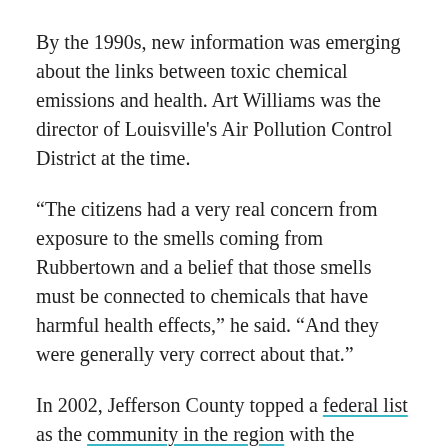By the 1990s, new information was emerging about the links between toxic chemical emissions and health. Art Williams was the director of Louisville's Air Pollution Control District at the time.
“The citizens had a very real concern from exposure to the smells coming from Rubbertown and a belief that those smells must be connected to chemicals that have harmful health effects,” he said. “And they were generally very correct about that.”
In 2002, Jefferson County topped a federal list as the community in the region with the highest potential adverse effect from toxics.
The next year, for the first time, local air monitoring presented concrete evidence of what was in the air over West Louisville: 17 dangerous chemicals were